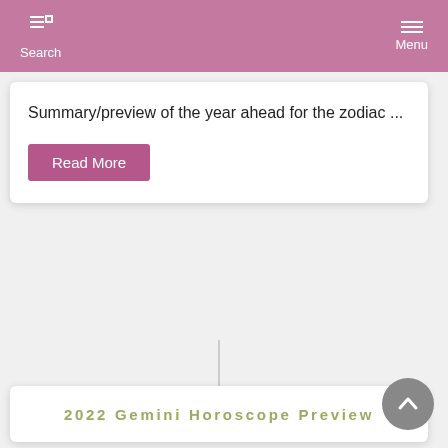Search  Menu
Summary/preview of the year ahead for the zodiac ...
Read More
2022 Gemini Horoscope Preview